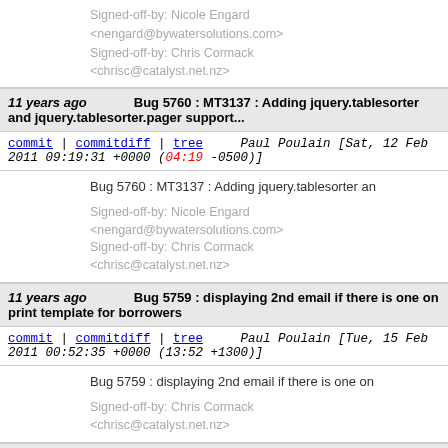Signed-off-by: Nicole Engard <nengard@bywatersolutions.com>
Signed-off-by: Chris Cormack <chrisc@catalyst.net.nz>
11 years ago   Bug 5760 : MT3137 : Adding jquery.tablesorter and jquery.tablesorter.pager support...
commit | commitdiff | tree   Paul Poulain [Sat, 12 Feb 2011 09:19:31 +0000 (04:19 -0500)]
Bug 5760 : MT3137 : Adding jquery.tablesorter an

Signed-off-by: Nicole Engard <nengard@bywatersolutions.com>
Signed-off-by: Chris Cormack <chrisc@catalyst.net.nz>
11 years ago   Bug 5759 : displaying 2nd email if there is one on print template for borrowers
commit | commitdiff | tree   Paul Poulain [Tue, 15 Feb 2011 00:52:35 +0000 (13:52 +1300)]
Bug 5759 : displaying 2nd email if there is one on

Signed-off-by: Chris Cormack <chrisc@catalyst.net.nz>
11 years ago   Merge remote branch 'ks/new/enh/bug_3170' into kcmaster